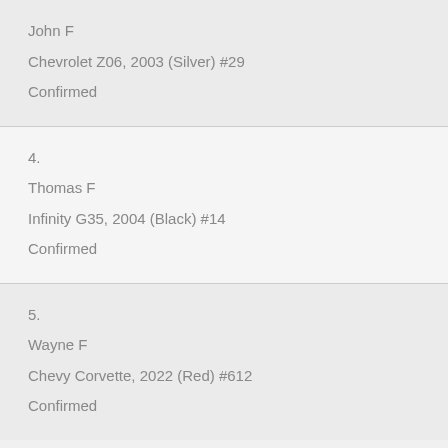John F
Chevrolet Z06, 2003 (Silver) #29
Confirmed
4.
Thomas F
Infinity G35, 2004 (Black) #14
Confirmed
5.
Wayne F
Chevy Corvette, 2022 (Red) #612
Confirmed